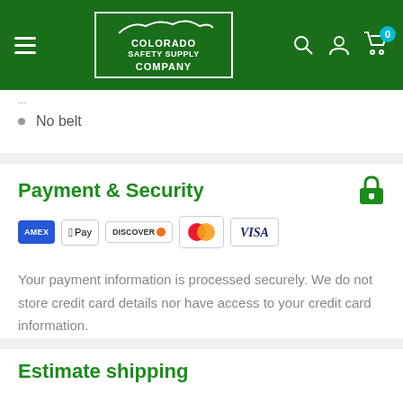[Figure (logo): Colorado Safety Supply Company header with green background, hamburger menu, company logo in white border box, and icons for search, account, and cart with badge showing 0]
No belt
Payment & Security
[Figure (other): Payment method logos: American Express (AMEX), Apple Pay, Discover, Mastercard, Visa]
Your payment information is processed securely. We do not store credit card details nor have access to your credit card information.
Estimate shipping